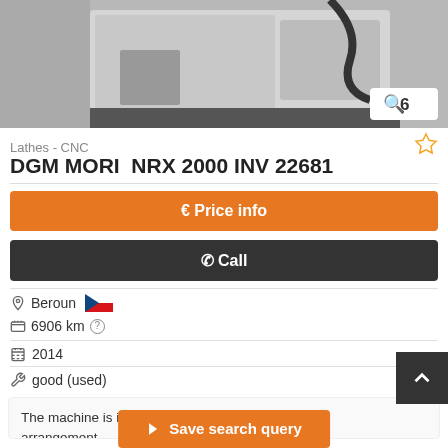[Figure (photo): CNC lathe machine photo, white/grey machine body, with a badge showing magnifier icon and the number 6]
Lathes - CNC
DGM MORI  NRX 2000 INV 22681
€ Price info
✆ Call
Beroun [Czech flag] 6906 km ?
2014
good (used)
The machine is in good technical condition, by prior arrangement ... o spindle (parallel sp...very
Save search query